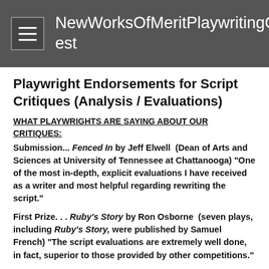NewWorksOfMeritPlaywritingContest
Playwright Endorsements for Script Critiques (Analysis / Evaluations)
WHAT PLAYWRIGHTS ARE SAYING ABOUT OUR CRITIQUES:
Submission... Fenced In by Jeff Elwell (Dean of Arts and Sciences at University of Tennessee at Chattanooga) "One of the most in-depth, explicit evaluations I have received as a writer and most helpful regarding rewriting the script."
First Prize. . . Ruby's Story by Ron Osborne (seven plays, including Ruby's Story, were published by Samuel French) "The script evaluations are extremely well done, in fact, superior to those provided by other competitions."
First Prize... Conversation with a Kleagle ... a KKK Recruiter by Rudy Gray (Ph.D. in Drama, Professor in the Thematic Studies Dept